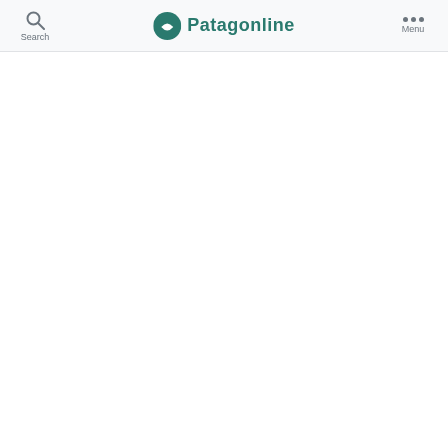Search   Patagonline   Menu
[Figure (screenshot): White blank content area below the Patagonline navigation header]